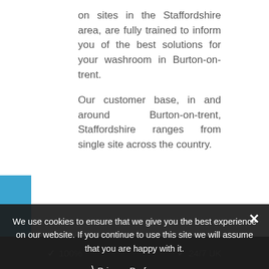on sites in the Staffordshire area, are fully trained to inform you of the best solutions for your washroom in Burton-on-trent.
Our customer base, in and around Burton-on-trent, Staffordshire ranges from single site across the country.
[Figure (screenshot): Cookie consent banner overlay with dark semi-transparent background. Contains text: 'We use cookies to ensure that we give you the best experience on our website. If you continue to use this site we will assume that you are happy with it.' with a Privacy Preferences link and I Agree button. A close (x) button is in the top right.]
✓ 100%   ✓ 24/7 UK